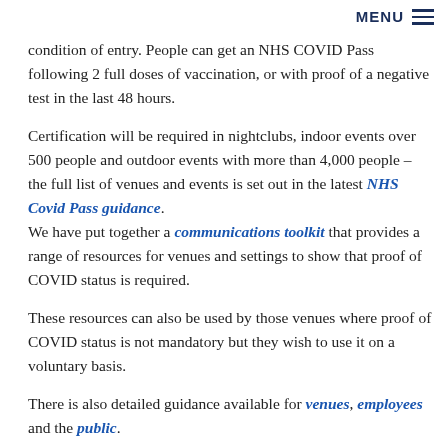MENU ≡
condition of entry. People can get an NHS COVID Pass following 2 full doses of vaccination, or with proof of a negative test in the last 48 hours.
Certification will be required in nightclubs, indoor events over 500 people and outdoor events with more than 4,000 people – the full list of venues and events is set out in the latest NHS Covid Pass guidance. We have put together a communications toolkit that provides a range of resources for venues and settings to show that proof of COVID status is required.
These resources can also be used by those venues where proof of COVID status is not mandatory but they wish to use it on a voluntary basis.
There is also detailed guidance available for venues, employees and the public.
Useful links: